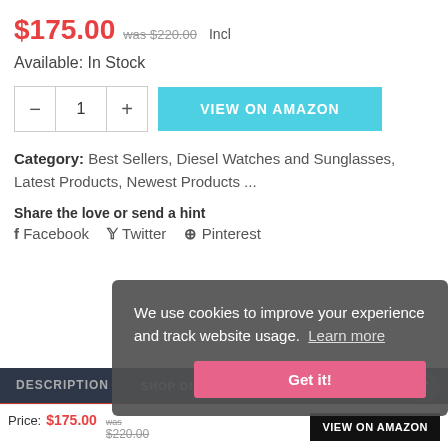$175.00  was $220.00  Incl
Available: In Stock
[Figure (screenshot): Quantity selector with minus, 1, plus buttons and VIEW ON AMAZON teal button]
Category: Best Sellers, Diesel Watches and Sunglasses, Latest Products, Newest Products ...
Share the love or send a hint
f Facebook  y Twitter  @ Pinterest
We use cookies to improve your experience and track website usage. Learn more
Get it!
DESCRIPTION
SHOP DIESEL WATCHES ONLINE
Price: $175.00  was $220.00